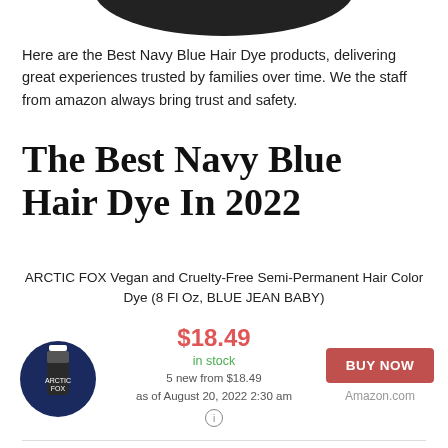[Figure (photo): Partial bottom view of a hair dye product container cropped at the top of the page]
Here are the Best Navy Blue Hair Dye products, delivering great experiences trusted by families over time. We the staff from amazon always bring trust and safety.
The Best Navy Blue Hair Dye In 2022
ARCTIC FOX Vegan and Cruelty-Free Semi-Permanent Hair Color Dye (8 Fl Oz, BLUE JEAN BABY)
[Figure (photo): Arctic Fox hair dye bottle on a dark blue circular background]
$18.49 in stock 5 new from $18.49 as of August 20, 2022 2:30 am
BUY NOW Amazon.com
MANIC PANIC After Midnight Hair Dye